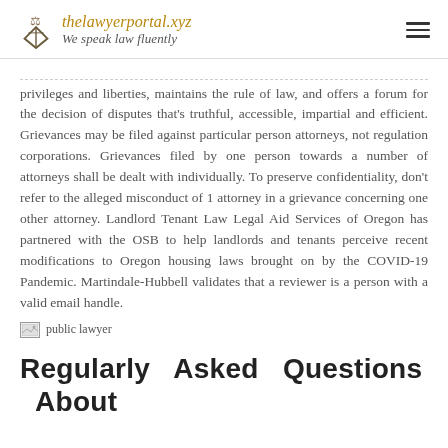thelawyerportal.xyz — We speak law fluently
privileges and liberties, maintains the rule of law, and offers a forum for the decision of disputes that's truthful, accessible, impartial and efficient. Grievances may be filed against particular person attorneys, not regulation corporations. Grievances filed by one person towards a number of attorneys shall be dealt with individually. To preserve confidentiality, don't refer to the alleged misconduct of 1 attorney in a grievance concerning one other attorney. Landlord Tenant Law Legal Aid Services of Oregon has partnered with the OSB to help landlords and tenants perceive recent modifications to Oregon housing laws brought on by the COVID-19 Pandemic. Martindale-Hubbell validates that a reviewer is a person with a valid email handle.
[Figure (photo): public lawyer image placeholder]
Regularly Asked Questions About